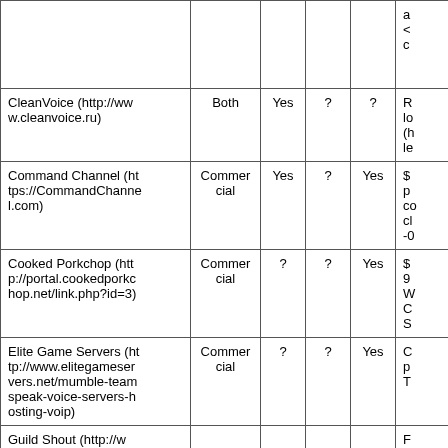| Name | Type | Free Trial | Col4 | Col5 | Notes |
| --- | --- | --- | --- | --- | --- |
|  |  |  |  |  | a
<
c |
| CleanVoice (http://www.cleanvoice.ru) | Both | Yes | ? | ? | R
lo
(h
le |
| Command Channel (https://CommandChannel.com) | Commercial | Yes | ? | Yes | $
p
co
cl
-0 |
| Cooked Porkchop (http://portal.cookedporkchop.net/link.php?id=3) | Commercial | ? | ? | Yes | $
9
W
C
S |
| Elite Game Servers (http://www.elitegameservers.net/mumble-teamspeak-voice-servers-hosting-voip) | Commercial | ? | ? | Yes | C
p
T |
| Guild Shout (http://www.guildshout.com/?u |  |  |  |  | F
g
s. |